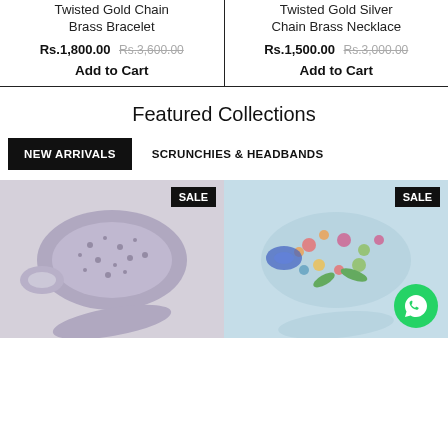Twisted Gold Chain Brass Bracelet
Rs.1,800.00 Rs.3,600.00
Add to Cart
Twisted Gold Silver Chain Brass Necklace
Rs.1,500.00 Rs.3,000.00
Add to Cart
Featured Collections
NEW ARRIVALS
SCRUNCHIES & HEADBANDS
[Figure (photo): Leopard print scrunchie set with headband on white background, SALE badge]
[Figure (photo): Tropical floral print scrunchie set with headband on light blue background, SALE badge, WhatsApp button]